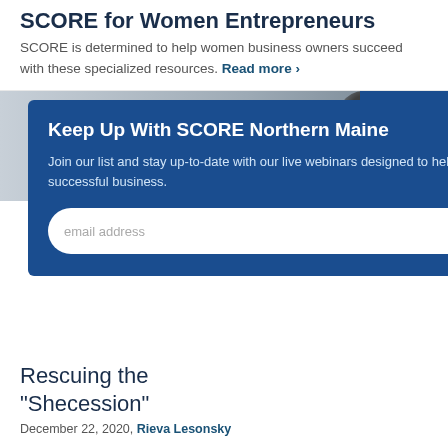SCORE for Women Entrepreneurs
SCORE is determined to help women business owners succeed with these specialized resources. Read more >
[Figure (photo): Background photo of a workspace/office environment with a person visible on the right side]
Keep Up With SCORE Northern Maine
Join our list and stay up-to-date with our live webinars designed to help you start and grow a successful business.
Rescuing the “Shecession”
December 22, 2020, Rieva Lesonsky